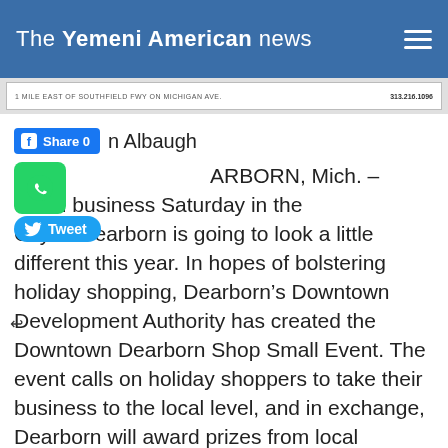The Yemeni American news
[Figure (screenshot): Advertisement banner: '1 MILE EAST OF SOUTHFIELD FWY ON MICHIGAN AVE.' with phone number 313.216.1096]
n Albaugh
DEARBORN, Mich. – Small business Saturday in the City of Dearborn is going to look a little different this year. In hopes of bolstering holiday shopping, Dearborn's Downtown Development Authority has created the Downtown Dearborn Shop Small Event. The event calls on holiday shoppers to take their business to the local level, and in exchange, Dearborn will award prizes from local businesses to holiday shoppers.